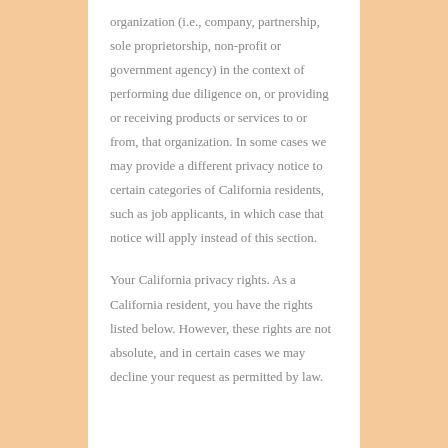organization (i.e., company, partnership, sole proprietorship, non-profit or government agency) in the context of performing due diligence on, or providing or receiving products or services to or from, that organization. In some cases we may provide a different privacy notice to certain categories of California residents, such as job applicants, in which case that notice will apply instead of this section.
Your California privacy rights. As a California resident, you have the rights listed below. However, these rights are not absolute, and in certain cases we may decline your request as permitted by law.